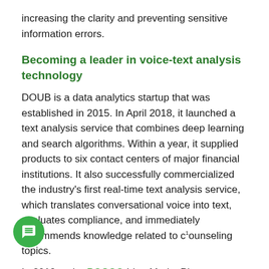increasing the clarity and preventing sensitive information errors.
Becoming a leader in voice-text analysis technology
DOUB is a data analytics startup that was established in 2015. In April 2018, it launched a text analysis service that combines deep learning and search algorithms. Within a year, it supplied products to six contact centers of major financial institutions. It also successfully commercialized the industry's first real-time text analysis service, which translates conversational voice into text, evaluates compliance, and immediately recommends knowledge related to counseling topics.1
In 2019 at the POSCO Idea MarketPlace, a Korean